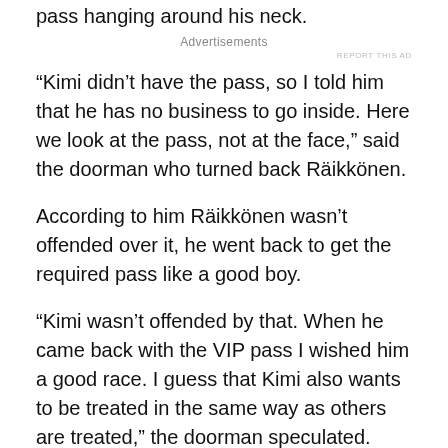pass hanging around his neck.
Advertisements
REPORT THIS AD
“Kimi didn’t have the pass, so I told him that he has no business to go inside. Here we look at the pass, not at the face,” said the doorman who turned back Räikkönen.
According to him Räikkönen wasn’t offended over it, he went back to get the required pass like a good boy.
“Kimi wasn’t offended by that. When he came back with the VIP pass I wished him a good race. I guess that Kimi also wants to be treated in the same way as others are treated,” the doorman speculated.
“But the other watchers who sat nearby got a bit offended